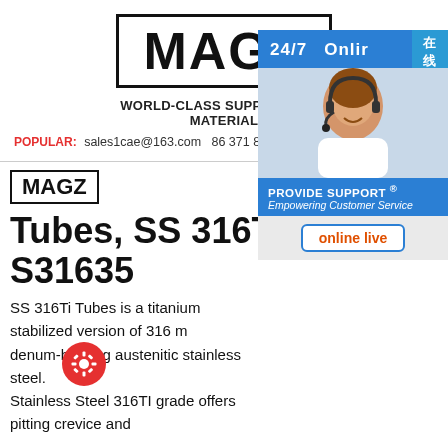[Figure (logo): MAGZ logo with bold text inside a rectangle border]
WORLD-CLASS SUPPLIER OF S MATERIAL
POPULAR: sales1cae@163.com 86 371 861
[Figure (photo): Chat support widget with 24/7 Online text, photo of woman with headset, Provide Support branding, and online live button. Chinese characters 在线咨询 on right side.]
[Figure (logo): Small MAGZ logo]
Tubes, SS 316TI Tubes, S31635
SS 316Ti Tubes is a titanium stabilized version of 316 molybdenum-bearing austenitic stainless steel. Stainless Steel 316TI grade offers pitting crevice and